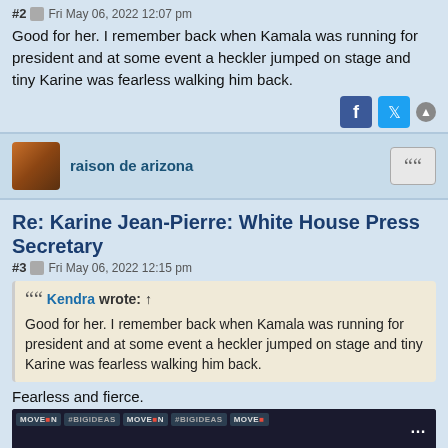Good for her. I remember back when Kamala was running for president and at some event a heckler jumped on stage and tiny Karine was fearless walking him back.
#2  Fri May 06, 2022 12:07 pm
raison de arizona
Re: Karine Jean-Pierre: White House Press Secretary
#3  Fri May 06, 2022 12:15 pm
Kendra wrote: ↑
Good for her. I remember back when Kamala was running for president and at some event a heckler jumped on stage and tiny Karine was fearless walking him back.
Fearless and fierce.
[Figure (screenshot): Video thumbnail showing 'I cannot let this happen': Jean-Pierre on blocking Sen. Harris, with MoveOn and #BigIdeas branding in the background]